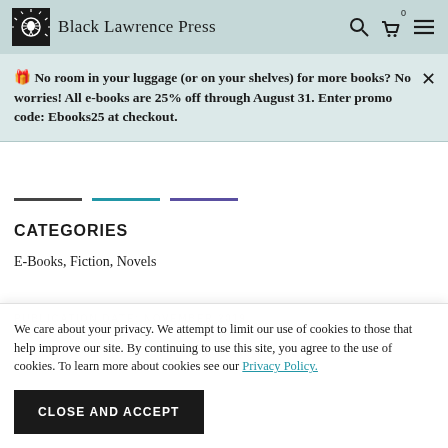Black Lawrence Press
🎁 No room in your luggage (or on your shelves) for more books? No worries! All e-books are 25% off through August 31. Enter promo code: Ebooks25 at checkout.
CATEGORIES
E-Books, Fiction, Novels
We care about your privacy. We attempt to limit our use of cookies to those that help improve our site. By continuing to use this site, you agree to the use of cookies. To learn more about cookies see our Privacy Policy.
CLOSE AND ACCEPT